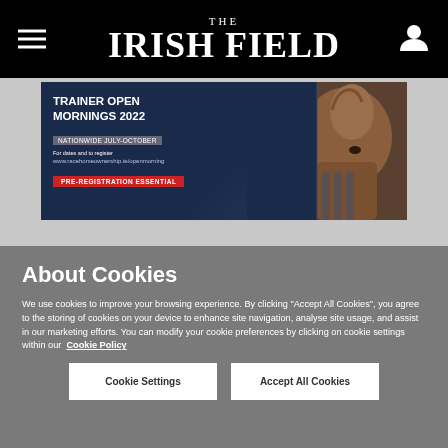THE IRISH FIELD
[Figure (infographic): Trainer Open Mornings 2022 advertisement banner with horse photo. Text: TRAINER OPEN MORNINGS 2022, NATIONWIDE JULY-OCTOBER, www.racehorseownership.ie/openmorning, PRE-REGISTRATION ESSENTIAL]
About Cookies
We use cookies to improve your browsing experience. By clicking "Accept All Cookies", you agree to the storing of cookies on your device to enhance site navigation, analyse site usage, and assist in our marketing efforts. You can modify your cookie preferences by clicking on cookie settings within our  Cookie Policy
Cookie Settings
Accept All Cookies